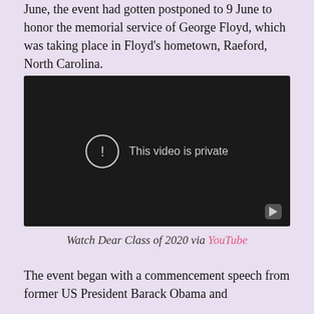June, the event had gotten postponed to 9 June to honor the memorial service of George Floyd, which was taking place in Floyd's hometown, Raeford, North Carolina.
[Figure (screenshot): Embedded YouTube video player showing 'This video is private' message with a circle exclamation icon and YouTube logo button in the bottom right corner. Video background is dark/black.]
Watch Dear Class of 2020 via YouTube
The event began with a commencement speech from former US President Barack Obama and